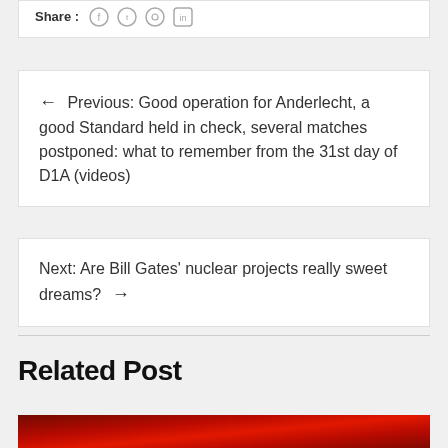Share:
← Previous: Good operation for Anderlecht, a good Standard held in check, several matches postponed: what to remember from the 31st day of D1A (videos)
Next: Are Bill Gates' nuclear projects really sweet dreams? →
Related Post
[Figure (photo): Red-toned image at bottom of page, partially visible]